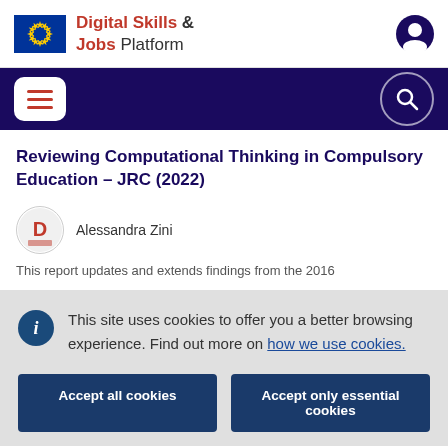Digital Skills & Jobs Platform
Reviewing Computational Thinking in Compulsory Education – JRC (2022)
Alessandra Zini
This report updates and extends findings from the 2016
This site uses cookies to offer you a better browsing experience. Find out more on how we use cookies.
Accept all cookies
Accept only essential cookies